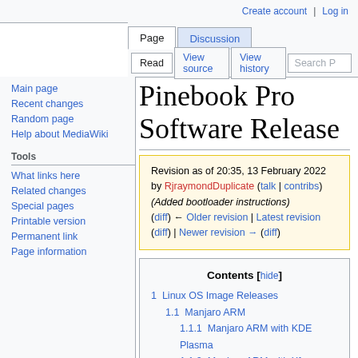Create account  Log in
Page  Discussion  Read  View source  View history  Search P
Pinebook Pro Software Release
Revision as of 20:35, 13 February 2022 by RjraymondDuplicate (talk | contribs) (Added bootloader instructions)
(diff) ← Older revision | Latest revision (diff) | Newer revision → (diff)
Main page
Recent changes
Random page
Help about MediaWiki
Tools
What links here
Related changes
Special pages
Printable version
Permanent link
Page information
Contents [hide]
1 Linux OS Image Releases
  1.1 Manjaro ARM
    1.1.1 Manjaro ARM with KDE Plasma
    1.1.2 Manjaro ARM with Xf...